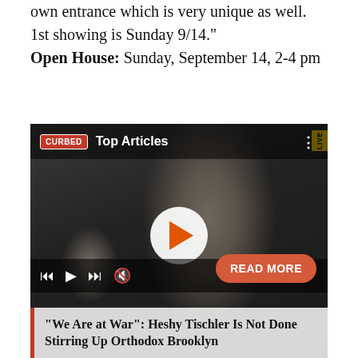own entrance which is very unique as well. 1st showing is Sunday 9/14."
Open House: Sunday, September 14, 2-4 pm
[Figure (screenshot): Video player thumbnail showing a man wearing a badge reading 'for Trump' and a child in a mask wearing a top hat. Overlay shows CURBED Top Articles branding, a play button, transport controls, a READ MORE button, and a caption: '"We Are at War": Heshy Tischler Is Not Done Stirring Up Orthodox Brooklyn']